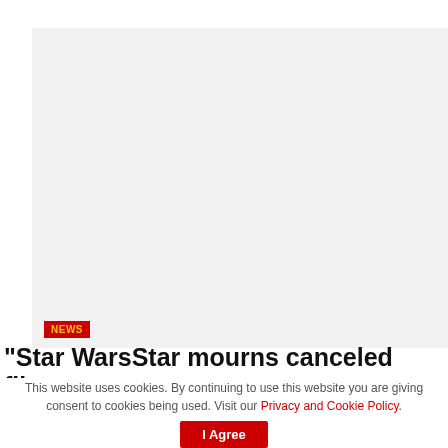[Figure (photo): Large light gray placeholder image area with a NEWS badge overlay at the bottom left]
“Star WarsStar mourns canceled film:
This website uses cookies. By continuing to use this website you are giving consent to cookies being used. Visit our Privacy and Cookie Policy.
I Agree